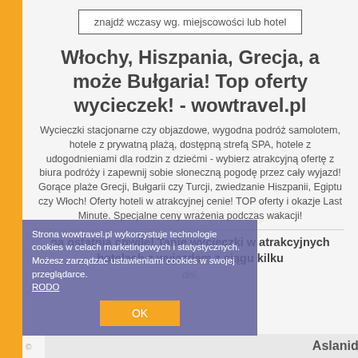znajdź wczasy wg. miejscowości lub hotel
Włochy, Hiszpania, Grecja, a może Bułgaria! Top oferty wycieczek! - wowtravel.pl
Wycieczki stacjonarne czy objazdowe, wygodna podróż samolotem, hotele z prywatną plażą, dostępną strefą SPA, hotele z udogodnieniami dla rodzin z dziećmi - wybierz atrakcyjną ofertę z biura podróży i zapewnij sobie słoneczną pogodę przez cały wyjazd! Gorące plaże Grecji, Bułgarii czy Turcji, zwiedzanie Hiszpanii, Egiptu czy Włoch! Oferty hoteli w atrakcyjnej cenie! TOP oferty i okazje Last Minute. Specjalne ceny wrażenia podczas wakacji!
na ostatnią chwilę! Tanie wycieczki w atrakcyjnych hotelach z wyjazdem z ciągu kilku dni.
Strona wowtravel.pl wykorzystuje technologie cookies w celach marketingowych i statystycznych. Możesz zarządzać ustawieniami cookies w swojej przeglądarce. RODO
OK
© Aslanidis